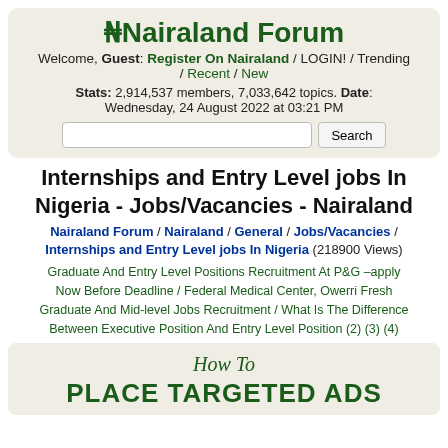Nairaland Forum
Welcome, Guest: Register On Nairaland / LOGIN! / Trending / Recent / New
Stats: 2,914,537 members, 7,033,642 topics. Date: Wednesday, 24 August 2022 at 03:21 PM
Internships and Entry Level jobs In Nigeria - Jobs/Vacancies - Nairaland
Nairaland Forum / Nairaland / General / Jobs/Vacancies / Internships and Entry Level jobs In Nigeria (218900 Views)
Graduate And Entry Level Positions Recruitment At P&G –apply Now Before Deadline / Federal Medical Center, Owerri Fresh Graduate And Mid-level Jobs Recruitment / What Is The Difference Between Executive Position And Entry Level Position (2) (3) (4)
How To
PLACE TARGETED ADS